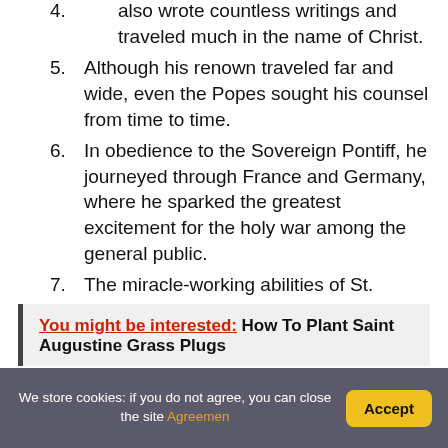also wrote countless writings and traveled much in the name of Christ.
5. Although his renown traveled far and wide, even the Popes sought his counsel from time to time.
6. In obedience to the Sovereign Pontiff, he journeyed through France and Germany, where he sparked the greatest excitement for the holy war among the general public.
7. The miracle-working abilities of St.
8. In 1153, he passed away on August 20.
You might be interested:  How To Plant Saint Augustine Grass Plugs
We store cookies: if you do not agree, you can close the site Agreemen